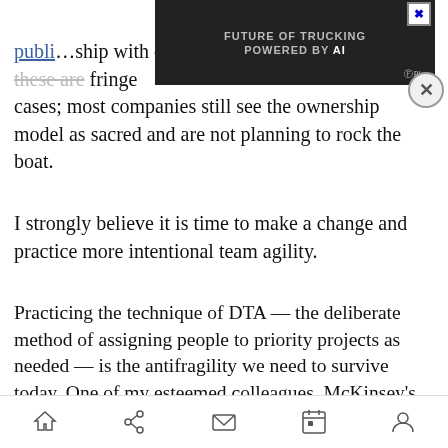publi…ship with distributed responsibility. But these are fringe cases; most companies still see the ownership model as sacred and are not planning to rock the boat.
[Figure (screenshot): Advertisement banner: 'FUTURE OF TRUCKING POWERED BY AI' with truck image on dark background, close button top right, GPlusAI logo bottom right, and circular close button overlapping]
I strongly believe it is time to make a change and practice more intentional team agility.
Practicing the technique of DTA — the deliberate method of assigning people to priority projects as needed — is the antifragility we need to survive today. One of my esteemed colleagues, McKinsey's Yuval Atsmon, wrote an article depicting the future of work that explains that "as jobs evolve, appear and disappear, adaptability will be more valued…
Home | Share | Mail | Calendar | Profile